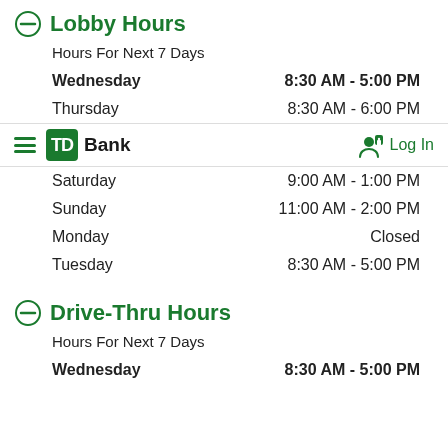Lobby Hours
Hours For Next 7 Days
Wednesday  8:30 AM - 5:00 PM
Thursday  8:30 AM - 6:00 PM
[Figure (logo): TD Bank navigation bar with hamburger menu and Log In button]
Saturday  9:00 AM - 1:00 PM
Sunday  11:00 AM - 2:00 PM
Monday  Closed
Tuesday  8:30 AM - 5:00 PM
Drive-Thru Hours
Hours For Next 7 Days
Wednesday  8:30 AM - 5:00 PM